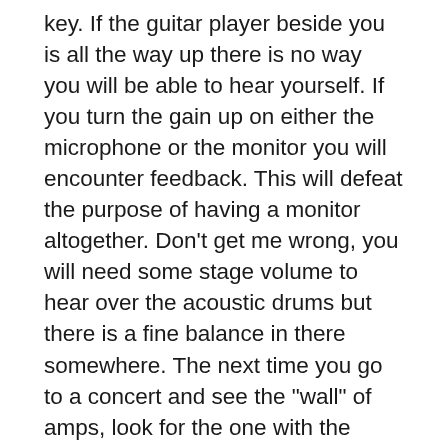key. If the guitar player beside you is all the way up there is no way you will be able to hear yourself. If you turn the gain up on either the microphone or the monitor you will encounter feedback. This will defeat the purpose of having a monitor altogether. Don't get me wrong, you will need some stage volume to hear over the acoustic drums but there is a fine balance in there somewhere. The next time you go to a concert and see the "wall" of amps, look for the one with the microphone in front of it. That is the one that is on. The rest are likely dummy cabinets. You can afford to turn up louder in an arena situation, but if you are ready for that you would not need this blog. If you